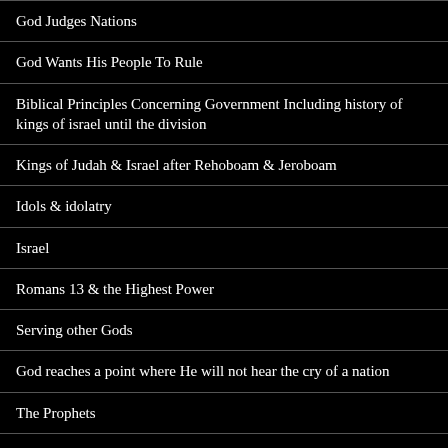God Judges Nations
God Wants His People To Rule
Biblical Principles Concerning Government Including history of kings of israel until the division
Kings of Judah & Israel after Rehoboam & Jeroboam
Idols & idolatry
Israel
Romans 13 & the Highest Power
Serving other Gods
God reaches a point where He will not hear the cry of a nation
The Prophets
Satan
Church: The Biblical doctrine of